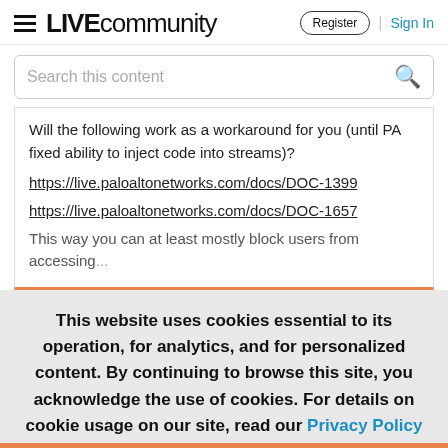LIVE community | Register | Sign In
Search this content
Will the following work as a workaround for you (until PA fixed ability to inject code into streams)?
https://live.paloaltonetworks.com/docs/DOC-1399
https://live.paloaltonetworks.com/docs/DOC-1657
This way you can at least mostly block users from accessing...
This website uses cookies essential to its operation, for analytics, and for personalized content. By continuing to browse this site, you acknowledge the use of cookies. For details on cookie usage on our site, read our Privacy Policy